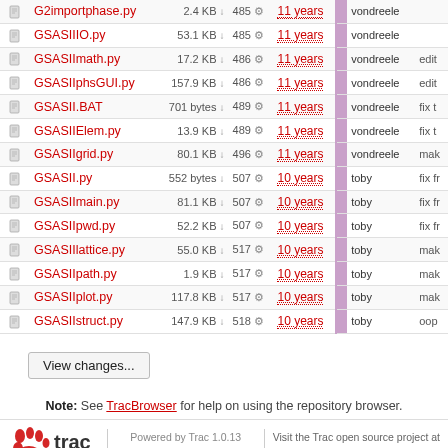|  | Name | Size |  | Rev |  | Age |  | Author | Last Change |
| --- | --- | --- | --- | --- | --- | --- | --- | --- | --- |
|  | G2importphase.py | 2.4 KB | ↓ | 485 | ⚙ | 11 years |  | vondreele |  |
|  | GSASIIIO.py | 53.1 KB | ↓ | 485 | ⚙ | 11 years |  | vondreele |  |
|  | GSASIImath.py | 17.2 KB | ↓ | 486 | ⚙ | 11 years |  | vondreele | edit |
|  | GSASIIphsGUI.py | 157.9 KB | ↓ | 486 | ⚙ | 11 years |  | vondreele | edit |
|  | GSASII.BAT | 701 bytes | ↓ | 489 | ⚙ | 11 years |  | vondreele | fix t |
|  | GSASIIElem.py | 13.9 KB | ↓ | 489 | ⚙ | 11 years |  | vondreele | fix t |
|  | GSASIIgrid.py | 80.1 KB | ↓ | 496 | ⚙ | 11 years |  | vondreele | mak |
|  | GSASII.py | 552 bytes | ↓ | 507 | ⚙ | 10 years |  | toby | fix fr |
|  | GSASIImain.py | 81.1 KB | ↓ | 507 | ⚙ | 10 years |  | toby | fix fr |
|  | GSASIIpwd.py | 52.2 KB | ↓ | 507 | ⚙ | 10 years |  | toby | fix fr |
|  | GSASIIlattice.py | 55.0 KB | ↓ | 517 | ⚙ | 10 years |  | toby | mak |
|  | GSASIIpath.py | 1.9 KB | ↓ | 517 | ⚙ | 10 years |  | toby | mak |
|  | GSASIIplot.py | 117.8 KB | ↓ | 517 | ⚙ | 10 years |  | toby | mak |
|  | GSASIIstruct.py | 147.9 KB | ↓ | 518 | ⚙ | 10 years |  | toby | oop |
View changes...
Note: See TracBrowser for help on using the repository browser.
Powered by Trac 1.0.13 By Edgewall Software. Visit the Trac open source project at http://trac.edgewall.org/